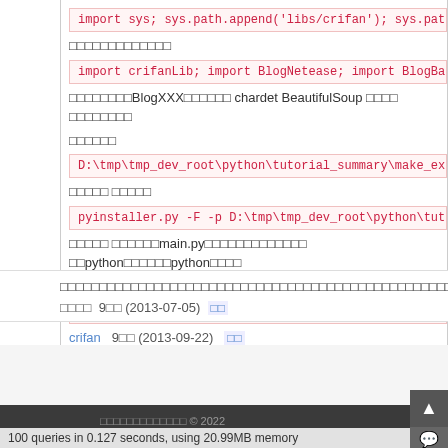import sys; sys.path.append('libs/crifan'); sys.path.app…
□□□□□□□□□□□□□
import crifanLib; import BlogNetease; import BlogBaidu; i…
□□□□□□□□BlogXXX□□□□□□ chardet BeautifulSoup □□□□ □□□□□□□□□□□□□□□□
D:\tmp\tmp_dev_root\python\tutorial_summary\make_exe\Blog…
□□□□□ □□□□□
pyinstaller.py -F -p D:\tmp\tmp_dev_root\python\tutorial_…
□□□□□ □□□□□□□main.py□□□□□□□□□□□□□ □□□python□□□□□□python□□□□□□□□□□□□□□□□□□□□□□□□□□□□□□□□□□□□□□□ □□□□□ □□□□□□
pyinstaller.py -F -p □□1;□□2;......; C:\scripts\main.py
crifan   9□□ (2013-09-22)  □□
□□□□□□□□□□□□□□□□□□□□□□□□□□□□□□□□□□□□□□□□□□□□□□□□□□□□□□□□□□□□□□□□□□□□□□□□□□□□□□□□□□□□□□□□□□
□□□□  9□□ (2013-07-05)  □□
□□□□□□□□□□□□□ © 2022 □□□    □□□□□□Vultr□□□□SEO□□□□SEO□□□□□□□□
100 queries in 0.127 seconds, using 20.99MB memory